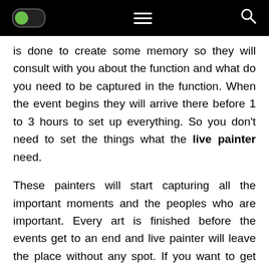[toggle] [menu] [search]
is done to create some memory so they will consult with you about the function and what do you need to be captured in the function. When the event begins they will arrive there before 1 to 3 hours to set up everything. So you don't need to set the things what the live painter need.
These painters will start capturing all the important moments and the peoples who are important. Every art is finished before the events get to an end and live painter will leave the place without any spot. If you want to get the painting on the same night you can get that if not they will deliver it to our home.
The main goal of the painter is to capture the main